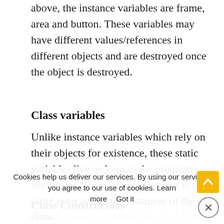above, the instance variables are frame, area and button. These variables may have different values/references in different objects and are destroyed once the object is destroyed.
Class variables
Unlike instance variables which rely on their objects for existence, these static variables live as long as the program itself lives. Their value/ reference is the same even across the instances of the class.
Class Constructors
This is a special method for all of Java an Instance of a class is created. One can use t
Cookies help us deliver our services. By using our services, you agree to our use of cookies. Learn more   Got it